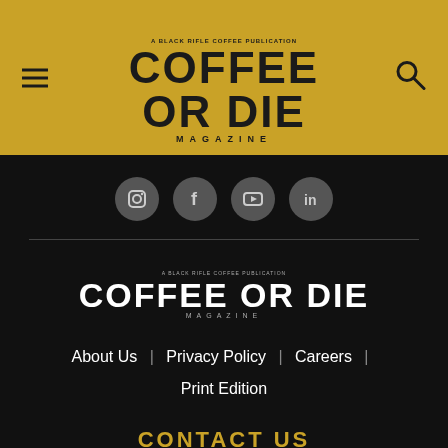COFFEE OR DIE MAGAZINE
[Figure (logo): Coffee or Die Magazine logo - bold black text on gold/yellow background with subtitle 'A Black Rifle Coffee Publication']
[Figure (infographic): Social media icons row: Instagram, Facebook, YouTube, LinkedIn - circular grey icons on black background]
[Figure (logo): Coffee or Die Magazine footer logo - white text on black background]
About Us | Privacy Policy | Careers | Print Edition
CONTACT US
Request a Correction
Write for Us
General Inquiries